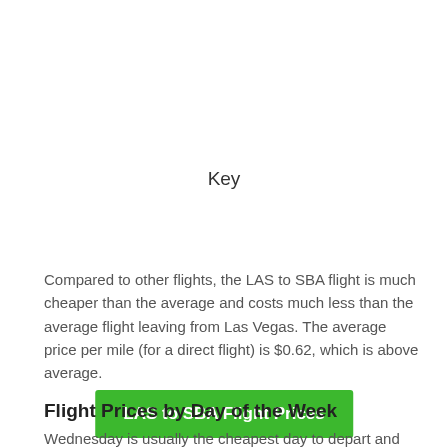Key
[Figure (other): Green button labeled 'LAS to SBA Flight Prices']
Compared to other flights, the LAS to SBA flight is much cheaper than the average and costs much less than the average flight leaving from Las Vegas. The average price per mile (for a direct flight) is $0.62, which is above average.
Flight Prices by Day of the Week
Wednesday is usually the cheapest day to depart and